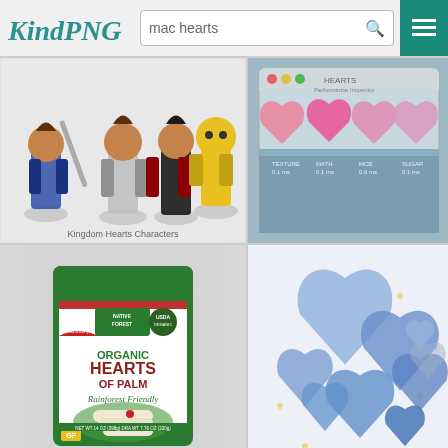KindPNG — mac hearts search page
[Figure (screenshot): KindPNG website header with logo, search bar containing 'mac hearts', search icon, and hamburger menu button on teal background]
[Figure (illustration): Kingdom Hearts video game characters group pose illustration]
[Figure (screenshot): Mac OS application window showing heart icons in pink shades with labels TEXTURE, MATH, MCB, SUGAR and values 0.1ms each]
[Figure (photo): Native Forest Organic Hearts of Palm can product image with Rainforest Friendly label]
[Figure (illustration): Blue gradient heart emoji illustrations scattered on light background]